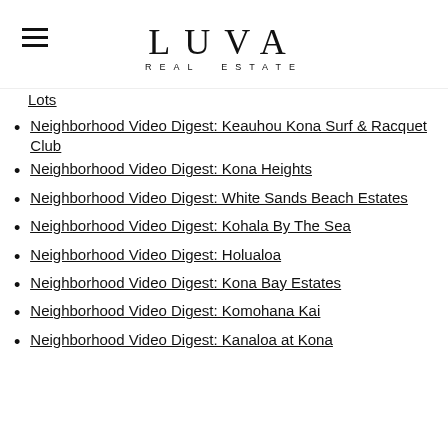LUVA REAL ESTATE
Lots
Neighborhood Video Digest: Keauhou Kona Surf & Racquet Club
Neighborhood Video Digest: Kona Heights
Neighborhood Video Digest: White Sands Beach Estates
Neighborhood Video Digest: Kohala By The Sea
Neighborhood Video Digest: Holualoa
Neighborhood Video Digest: Kona Bay Estates
Neighborhood Video Digest: Komohana Kai
Neighborhood Video Digest: Kanaloa at Kona